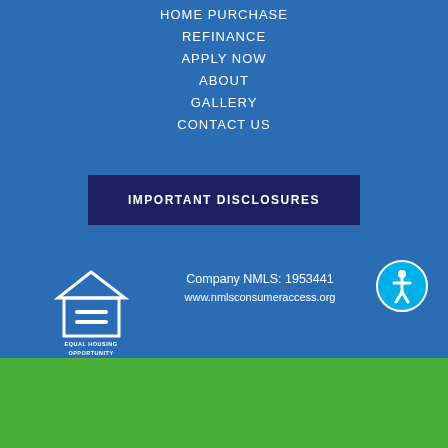HOME PURCHASE
REFINANCE
APPLY NOW
ABOUT
GALLERY
CONTACT US
IMPORTANT DISCLOSURES
[Figure (logo): Equal Housing Opportunity logo with house icon and text]
Company NMLS: 1953441
www.nmlsconsumeraccess.org
[Figure (logo): Accessibility icon - circular blue badge with person figure]
[Figure (other): Social media icons: Facebook, Instagram, YouTube, Google, LinkedIn]
© 2022 First Coast Mortgage Funding. All Rights Reserved.